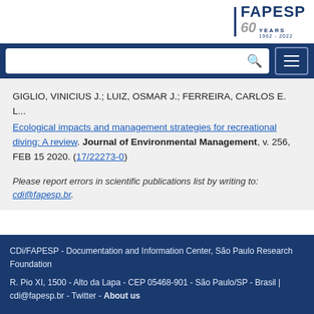[Figure (logo): FAPESP 60 Years 1962-2022 logo in navy blue and gray]
GIGLIO, VINICIUS J.; LUIZ, OSMAR J.; FERREIRA, CARLOS E. L... Ecological impacts and management strategies for recreational diving: A review. Journal of Environmental Management, v. 256, FEB 15 2020. (17/22273-0)
Please report errors in scientific publications list by writing to: cdi@fapesp.br.
CDi/FAPESP - Documentation and Information Center, São Paulo Research Foundation
R. Pio XI, 1500 - Alto da Lapa - CEP 05468-901 - São Paulo/SP - Brasil | cdi@fapesp.br - Twitter - About us